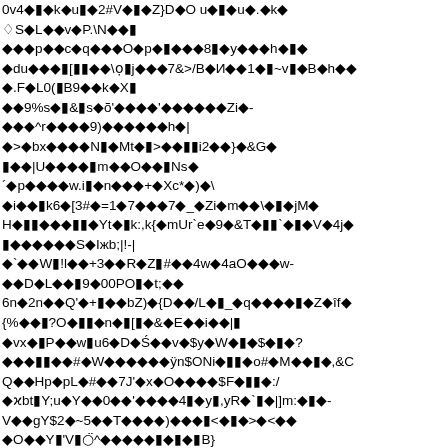0v4◆▮◆k◆u▮◆2#V◆▮◆Z}D◆O u◆▮◆u◆.◆k◆
♦S◆L◆◆v◆P.\N◆◆▮
◆◆◆p◆◆c◆q◆◆◆O◆p◆▮◆◆◆8▮◆y◆◆◆h◆▮◆
◆du◆◆◆▮[▮▮◆◆\ọ▮j◆◆◆7&>/B◆И◆◆1◆▮~v▮◆B◆h◆◆
◆.F◆L0(▮B9◆◆k◆X▮
◆◆9%s◆▮&▮s◆õ'◆◆◆◆'◆◆◆◆◆◆Zi◆-
◆◆◆^r◆◆◆◆9)◆◆◆◆◆◆h◆|
◆>◆bx◆◆◆◆N▮◆Mt◆▮>◆◆▮▮i2◆◆}◆&G◆
▮◆◆|U◆◆◆◆▮m◆◆O◆◆▮Ns◆
´◆p◆◆◆◆w.i▮◆n◆◆◆+◆Xc*◆)◆\
◆i◆◆▮k6◆[3#◆=1◆7◆◆◆7◆_◆Zi◆m◆◆\◆▮◆jM◆
Н◆▮▮◆◆◆▮▮◆Yt◆▮k:,k{◆mUr`e◆9◆&T◆▮▮`◆▮◆V◆4j◆
▮◆◆◆◆◆◆S◆Iжb;|!-|
◆`◆◆W▮!l◆◆+3◆◆R◆Z▮#◆◆4w◆4aO◆◆◆w-
◆◆D◆L◆◆▮9◆00PO▮◆t;◆◆
6n◆2n◆◆Q'◆+▮◆◆bZ)◆{D◆◆/L◆▮_◆q◆◆◆◆▮◆Z◆îf◆
{%◆◆▮?O◆▮▮◆n◆▮[▮◆&◆E◆◆i◆◆|▮
◆vx◆▮P◆◆w▮u6◆D◆Ś◆◆v◆$y◆W◆▮◆$◆▮◆?
◆◆◆▮▮◆◆#◆W◆◆◆◆◆◆ÿn$ONi◆▮▮◆o#◆M◆◆▮◆,&C
Q◆◆Hp◆pL◆#◆◆7J'◆x◆O◆◆◆◆$F◆▮▮◆:/
◆ϰbt▮Y;u◆Y◆◆0◆◆'◆◆◆◆4▮◆y▮,yR◆`▮◆|]m:◆▮◆-
V◆◆gY$2◆~5◆◆T◆◆◆◆)◆◆◆▮<◆▮◆>◆<◆◆
◆O◆◆Y▮'V▮◌̈^◆◆◆◆◆▮◆▮◆▮B}
◆<◆x◆◆▮◆◆{◆&◆_6◆◆◆▮